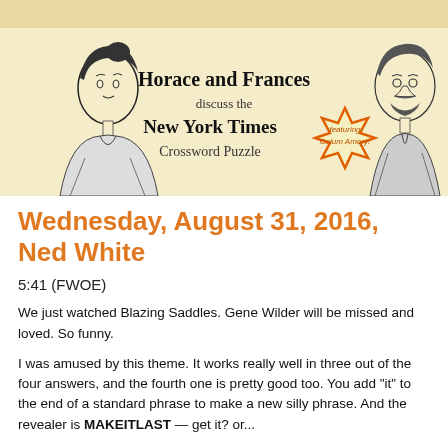[Figure (illustration): Header banner showing two Victorian-style portrait illustrations (a woman on the left, a man on the right) with center text reading 'Horace and Frances discuss the New York Times Crossword Puzzle' and a starburst badge reading 'featuring Colum Amory!']
Wednesday, August 31, 2016, Ned White
5:41 (FWOE)
We just watched Blazing Saddles. Gene Wilder will be missed and loved. So funny.
I was amused by this theme. It works really well in three out of the four answers, and the fourth one is pretty good too. You add "it" to the end of a standard phrase to make a new silly phrase. And the revealer is MAKEITLAST — get it? or...